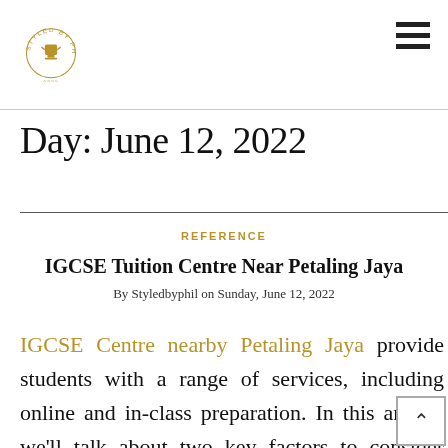Styled By Phil (logo) — navigation hamburger menu
Day: June 12, 2022
REFERENCE
IGCSE Tuition Centre Near Petaling Jaya
By Styledbyphil on Sunday, June 12, 2022
IGCSE Centre nearby Petaling Jaya provide students with a range of services, including online and in-class preparation. In this article, we'll talk about two key factors to consider when selecting a tuition centre. First, how many years of experience do tutors have in teaching the prestigious